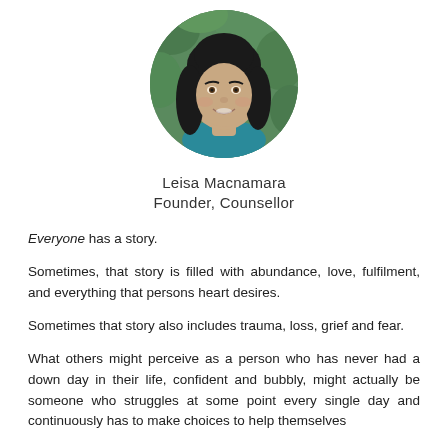[Figure (photo): Circular portrait photo of a woman with dark hair, smiling, wearing a teal top, with green foliage background]
Leisa Macnamara
Founder, Counsellor
Everyone has a story.
Sometimes, that story is filled with abundance, love, fulfilment, and everything that persons heart desires.
Sometimes that story also includes trauma, loss, grief and fear.
What others might perceive as a person who has never had a down day in their life, confident and bubbly, might actually be someone who struggles at some point every single day and continuously has to make choices to help themselves